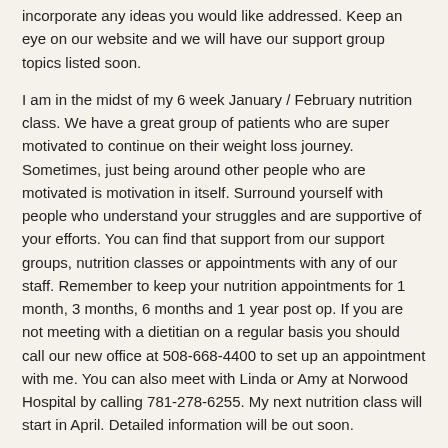incorporate any ideas you would like addressed. Keep an eye on our website and we will have our support group topics listed soon.
I am in the midst of my 6 week January / February nutrition class. We have a great group of patients who are super motivated to continue on their weight loss journey. Sometimes, just being around other people who are motivated is motivation in itself. Surround yourself with people who understand your struggles and are supportive of your efforts. You can find that support from our support groups, nutrition classes or appointments with any of our staff. Remember to keep your nutrition appointments for 1 month, 3 months, 6 months and 1 year post op. If you are not meeting with a dietitian on a regular basis you should call our new office at 508-668-4400 to set up an appointment with me. You can also meet with Linda or Amy at Norwood Hospital by calling 781-278-6255. My next nutrition class will start in April. Detailed information will be out soon.
One of my favorite components of my nutrition class is the week we talk about cooking. We even have a couple of chefs in our class right now. I love to cook too. I wish I had more time to experiment with new recipes every day. I do try to try at least one new recipe a week. This is a great way